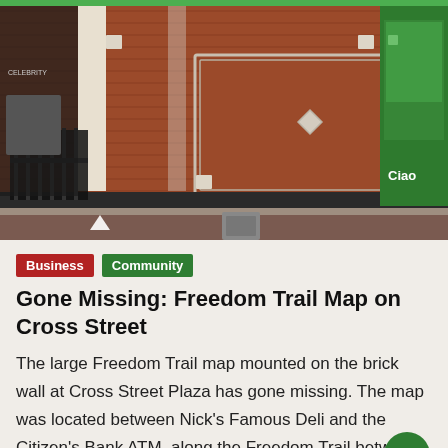[Figure (photo): Photograph of a brick wall at Cross Street Plaza showing a rectangular frame/outline where a Freedom Trail map used to be mounted. A black iron fence is visible on the left side, and a green storefront (Ciao) is visible on the right. The sidewalk and street are visible at the bottom of the image.]
Business
Community
Gone Missing: Freedom Trail Map on Cross Street
The large Freedom Trail map mounted on the brick wall at Cross Street Plaza has gone missing. The map was located between Nick's Famous Deli and the Citizen's Bank ATM, along the Freedom Trail between Salem & Hanover Streets.